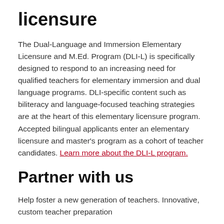licensure
The Dual-Language and Immersion Elementary Licensure and M.Ed. Program (DLI-L) is specifically designed to respond to an increasing need for qualified teachers for elementary immersion and dual language programs. DLI-specific content such as biliteracy and language-focused teaching strategies are at the heart of this elementary licensure program. Accepted bilingual applicants enter an elementary licensure and master's program as a cohort of teacher candidates. Learn more about the DLI-L program.
Partner with us
Help foster a new generation of teachers. Innovative, custom teacher preparation